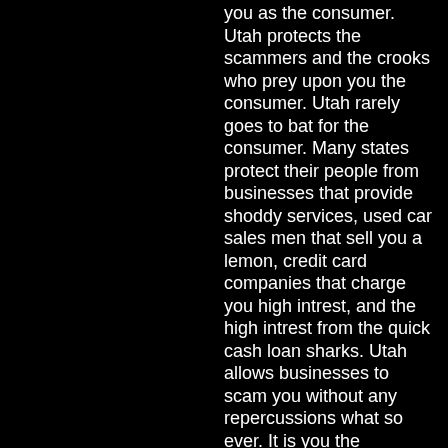you as the consumer. Utah protects the scammers and the crooks who prey upon you the consumer. Utah rarely goes to bat for the consumer. Many states protect their people from businesses that provide shoddy services, used car sales men that sell you a lemon, credit card companies that charge you high intrest, and the high intrest from the quick cash loan sharks. Utah allows businesses to scam you without any repercussions what so ever. It is you the consumer who is responsable to make sure that you are not scammed from any business. Basically Utah allows you to be scammed, robbed and taken advantage of by businesses. You have no protection and no right to be protected by unscrupulous businesses.
ditto :+5
(show comment)
Why?
Report Commentby Scybo @ 10:31pm - Thu Jul 17th, 2008
She could try to sue but she wouldn't win because she didn't